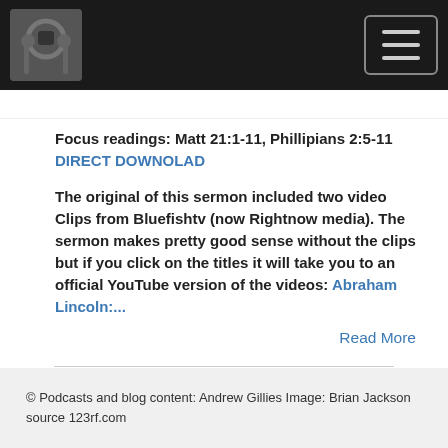Focus readings: Matt 21:1-11, Phillipians 2:5-11 DIRECT DOWNOLAD
The original of this sermon included two video Clips from Bluefishtv (now Rightnow media). The sermon makes pretty good sense without the clips but if you click on the titles it will take you to an official YouTube version of the videos: Abraham Lincoln:...
Read More
© Podcasts and blog content: Andrew Gillies Image: Brian Jackson source 123rf.com